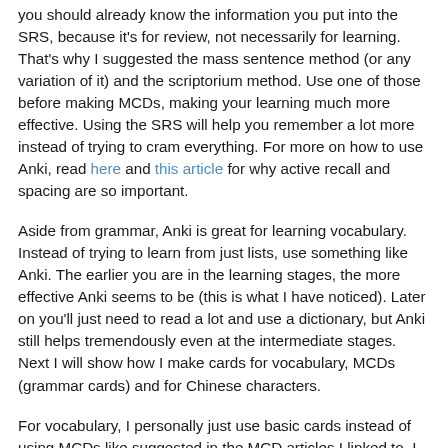you should already know the information you put into the SRS, because it's for review, not necessarily for learning. That's why I suggested the mass sentence method (or any variation of it) and the scriptorium method. Use one of those before making MCDs, making your learning much more effective. Using the SRS will help you remember a lot more instead of trying to cram everything. For more on how to use Anki, read here and this article for why active recall and spacing are so important.
Aside from grammar, Anki is great for learning vocabulary. Instead of trying to learn from just lists, use something like Anki. The earlier you are in the learning stages, the more effective Anki seems to be (this is what I have noticed). Later on you'll just need to read a lot and use a dictionary, but Anki still helps tremendously even at the intermediate stages. Next I will show how I make cards for vocabulary, MCDs (grammar cards) and for Chinese characters.
For vocabulary, I personally just use basic cards instead of using MCDs like suggested in the MCD articles I linked to. I personally find it too cumbersome to use MCDs for anything